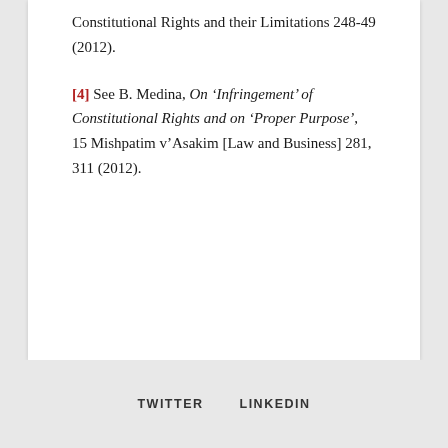Constitutional Rights and their Limitations 248-49 (2012).
[4] See B. Medina, On 'Infringement' of Constitutional Rights and on 'Proper Purpose', 15 Mishpatim v'Asakim [Law and Business] 281, 311 (2012).
TWITTER   LINKEDIN